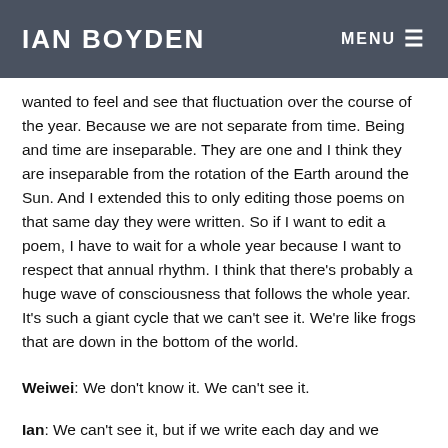IAN BOYDEN  MENU
wanted to feel and see that fluctuation over the course of the year. Because we are not separate from time. Being and time are inseparable. They are one and I think they are inseparable from the rotation of the Earth around the Sun. And I extended this to only editing those poems on that same day they were written. So if I want to edit a poem, I have to wait for a whole year because I want to respect that annual rhythm. I think that there's probably a huge wave of consciousness that follows the whole year. It's such a giant cycle that we can't see it. We're like frogs that are down in the bottom of the world.
Weiwei: We don't know it. We can't see it.
Ian: We can't see it, but if we write each day and we